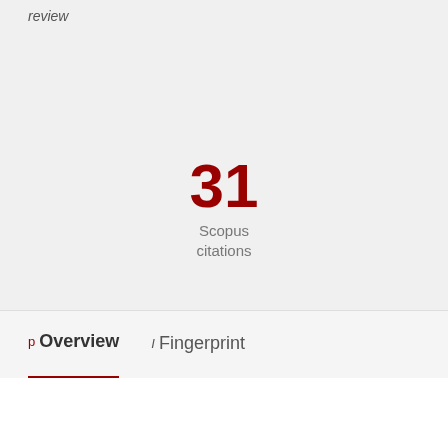review
31
Scopus citations
p Overview   I Fingerprint
Abstract
Aflatoxins are fungal metabolites that contaminate staple